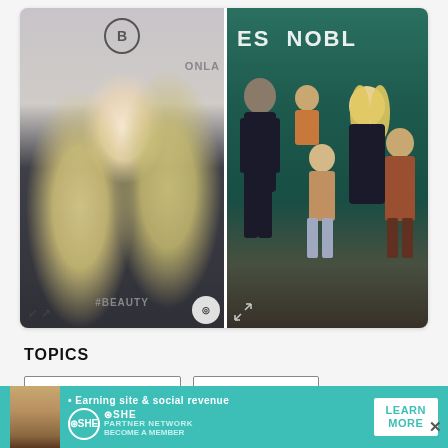[Figure (photo): Two photos side by side: left photo shows a blonde woman at a beauty event with a B logo and #BEAUTY text visible; right photo shows a man and woman with three children in front of a Barnes & Noble backdrop]
TOPICS
JESSICA SIMPSON
NICK LACHEY
[Figure (infographic): Advertisement banner: SHE PARTNER NETWORK - Earning site & social revenue. BECOME A MEMBER. LEARN MORE button. Features woman avatar on left side.]